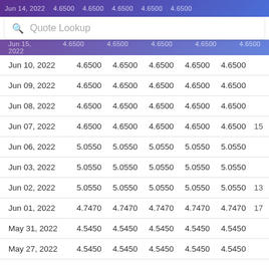Jun 14, 2022   4.6500   4.6500   4.6500   4.6500   4.6500
Quote Lookup
| Date | Open | High | Low | Close | Volume |
| --- | --- | --- | --- | --- | --- |
| Jun 15, 2022 | 4.6500 | 4.6500 | 4.6500 | 4.6500 | 4.6500 |  |
| Jun 10, 2022 | 4.6500 | 4.6500 | 4.6500 | 4.6500 | 4.6500 |  |
| Jun 09, 2022 | 4.6500 | 4.6500 | 4.6500 | 4.6500 | 4.6500 |  |
| Jun 08, 2022 | 4.6500 | 4.6500 | 4.6500 | 4.6500 | 4.6500 |  |
| Jun 07, 2022 | 4.6500 | 4.6500 | 4.6500 | 4.6500 | 4.6500 | 15 |
| Jun 06, 2022 | 5.0550 | 5.0550 | 5.0550 | 5.0550 | 5.0550 |  |
| Jun 03, 2022 | 5.0550 | 5.0550 | 5.0550 | 5.0550 | 5.0550 |  |
| Jun 02, 2022 | 5.0550 | 5.0550 | 5.0550 | 5.0550 | 5.0550 | 13 |
| Jun 01, 2022 | 4.7470 | 4.7470 | 4.7470 | 4.7470 | 4.7470 | 17 |
| May 31, 2022 | 4.5450 | 4.5450 | 4.5450 | 4.5450 | 4.5450 |  |
| May 27, 2022 | 4.5450 | 4.5450 | 4.5450 | 4.5450 | 4.5450 |  |